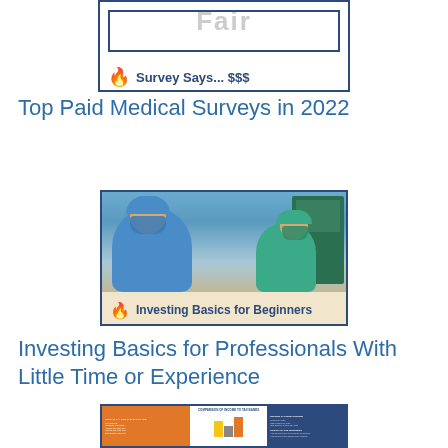[Figure (illustration): Thumbnail card with 'Fair' text in background, flame logo, and bold text 'Survey Says... $$$' on a white card with blue border]
Top Paid Medical Surveys in 2022
[Figure (photo): Photo of two medical professionals in blue/green surgical scrubs and masks in an operating room setting, with text overlay 'Investing Basics for Beginners' and flame logo on a beige background bar]
Investing Basics for Professionals With Little Time or Experience
[Figure (screenshot): Thumbnail of a tax comparison document/spreadsheet with bar chart showing income to tax band comparison, with orange, yellow, and gray bars]